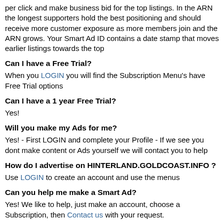per click and make business bid for the top listings. In the ARN the longest supporters hold the best positioning and should receive more customer exposure as more members join and the ARN grows. Your Smart Ad ID contains a date stamp that moves earlier listings towards the top
Can I have a Free Trial?
When you LOGIN you will find the Subscription Menu's have Free Trial options
Can I have a 1 year Free Trial?
Yes!
Will you make my Ads for me?
Yes! - First LOGIN and complete your Profile - If we see you dont make content or Ads yourself we will contact you to help
How do I advertise on HINTERLAND.GOLDCOAST.INFO ?
Use LOGIN to create an account and use the menus
Can you help me make a Smart Ad?
Yes! We like to help, just make an account, choose a Subscription, then Contact us with your request.